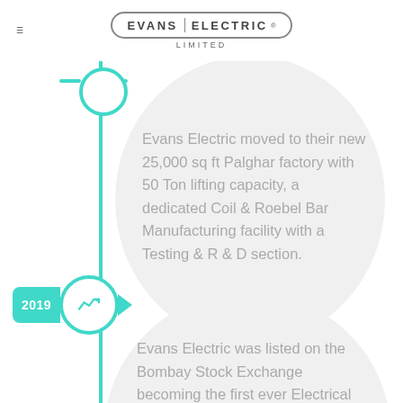EVANS ELECTRIC LIMITED
Evans Electric moved to their new 25,000 sq ft Palghar factory with 50 Ton lifting capacity, a dedicated Coil & Roebel Bar Manufacturing facility with a Testing & R & D section.
2019
Evans Electric was listed on the Bombay Stock Exchange becoming the first ever Electrical